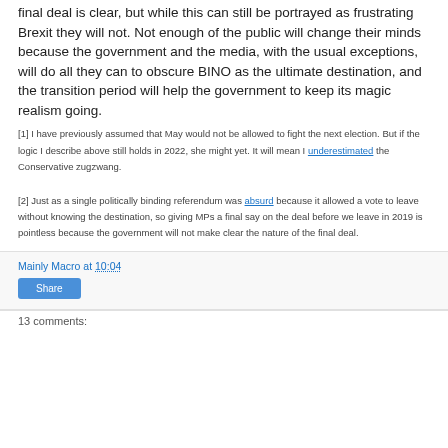final deal is clear, but while this can still be portrayed as frustrating Brexit they will not. Not enough of the public will change their minds because the government and the media, with the usual exceptions, will do all they can to obscure BINO as the ultimate destination, and the transition period will help the government to keep its magic realism going.
[1] I have previously assumed that May would not be allowed to fight the next election. But if the logic I describe above still holds in 2022, she might yet. It will mean I underestimated the Conservative zugzwang.
[2] Just as a single politically binding referendum was absurd because it allowed a vote to leave without knowing the destination, so giving MPs a final say on the deal before we leave in 2019 is pointless because the government will not make clear the nature of the final deal.
Mainly Macro at 10:04 Share
13 comments: